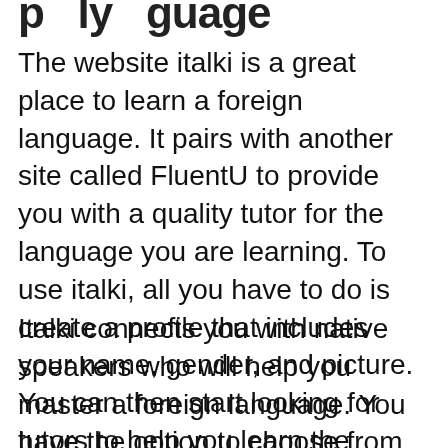…p…l…i…t… …l…y… …g…u…a…g…e…
The website italki is a great place to learn a foreign language. It pairs with another site called FluentU to provide you with a quality tutor for the language you are learning. To use italki, all you have to do is create a profile that includes your name, gender, and picture. You can then start looking for tutors to help you learn the language. Once you've found a tutor you want, make sure they're vetted and approved by Italki.
Italki connects you with native speakers who will help you master a foreign language. You have the option to choose from more than 190 languages in order to learn a language. Each lesson is different in length, cost, convenience, and time. Interactive